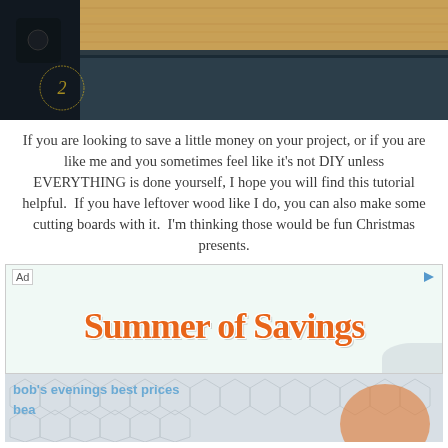[Figure (photo): Close-up photo of a dark navy/black dresser with a butcher block wood countertop. A small circular logo is visible in the lower left of the image.]
If you are looking to save a little money on your project, or if you are like me and you sometimes feel like it's not DIY unless EVERYTHING is done yourself, I hope you will find this tutorial helpful.  If you have leftover wood like I do, you can also make some cutting boards with it.  I'm thinking those would be fun Christmas presents.
[Figure (other): Advertisement banner reading 'Summer of Savings' in large orange script lettering on a light mint/teal background. Ad label and arrow icon visible.]